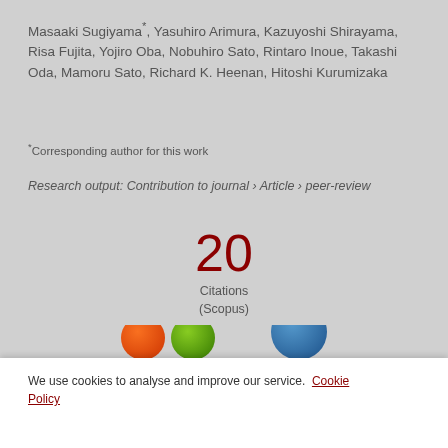Masaaki Sugiyama*, Yasuhiro Arimura, Kazuyoshi Shirayama, Risa Fujita, Yojiro Oba, Nobuhiro Sato, Rintaro Inoue, Takashi Oda, Mamoru Sato, Richard K. Heenan, Hitoshi Kurumizaka
*Corresponding author for this work
Research output: Contribution to journal › Article › peer-review
[Figure (infographic): Citation count display showing '20 Citations (Scopus)' in large dark red text]
[Figure (infographic): Three partially visible colored circles (orange, green, blue) at the bottom of the main content area]
We use cookies to analyse and improve our service. Cookie Policy